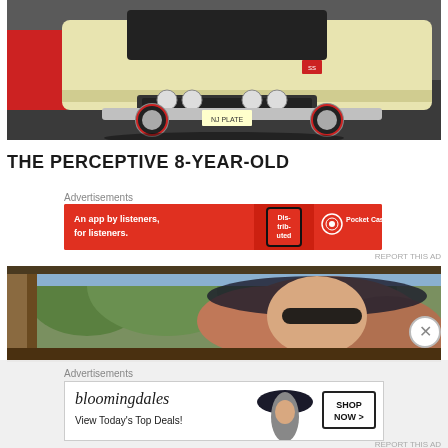[Figure (photo): Front view of a classic cream/yellow muscle car (likely 1967 Chevrolet Chevelle) parked on asphalt at a car show, with a red car partially visible on the left.]
THE PERCEPTIVE 8-YEAR-OLD
Advertisements
[Figure (photo): Pocket Casts advertisement banner. Red background with text: 'An app by listeners, for listeners.' Shows a smartphone with 'Distributed' podcast artwork and Pocket Casts logo.]
REPORT THIS AD
[Figure (photo): Photo of a woman with red/auburn hair wearing a wide-brim dark hat, viewed from inside a classic car interior.]
Advertisements
[Figure (photo): Bloomingdale's advertisement banner. White background with 'bloomingdales' logo, text 'View Today's Top Deals!' with a woman wearing a large dark hat, and a 'SHOP NOW >' button box.]
REPORT THIS AD